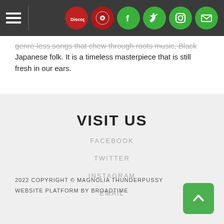Navigation bar with hamburger menu and social icons (Discogs, record store, Facebook, Twitter, Instagram, Email)
genre-less songs that chew through roots music, Black music, and even Japanese folk. It is a timeless masterpiece that is still fresh in our ears.
VISIT US
FACEBOOK
TWITTER
INSTAGRAM
EMAIL
2022 COPYRIGHT © MAGNOLIA THUNDERPUSSY
WEBSITE PLATFORM BY BROADTIME